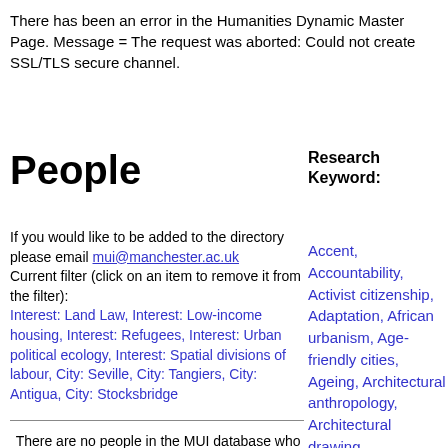There has been an error in the Humanities Dynamic Master Page. Message = The request was aborted: Could not create SSL/TLS secure channel.
People
Research Keyword:
If you would like to be added to the directory please email mui@manchester.ac.uk
Current filter (click on an item to remove it from the filter):
Interest: Land Law, Interest: Low-income housing, Interest: Refugees, Interest: Urban political ecology, Interest: Spatial divisions of labour, City: Seville, City: Tangiers, City: Antigua, City: Stocksbridge
There are no people in the MUI database who meet your search criteria
Accent, Accountability, Activist citizenship, Adaptation, African urbanism, Age-friendly cities, Ageing, Architectural anthropology, Architectural drawing, Architectural ethnography, Architecture, Art, Aspiration, Atmosphere, Austerity,